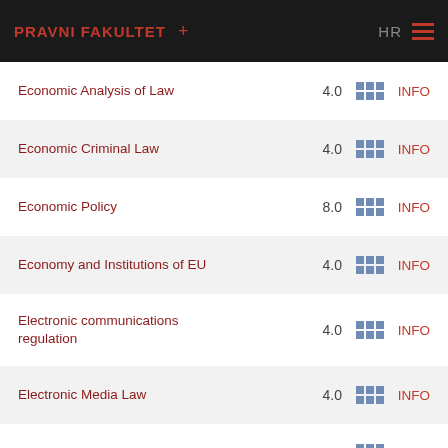PRAVNI FAKULTET + HR ☰
Economic Analysis of Law 4.0 INFO
Economic Criminal Law 4.0 INFO
Economic Policy 8.0 INFO
Economy and Institutions of EU 4.0 INFO
Electronic communications regulation 4.0 INFO
Electronic Media Law 4.0 INFO
EU Internal Market Law 4.0 INFO